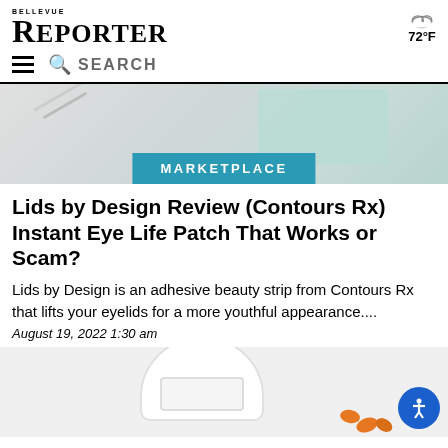BELLEVUE REPORTER
72°F
SEARCH
[Figure (photo): Product photo showing eye patch strips and packaging on a light background, with a teal MARKETPLACE banner overlay]
Lids by Design Review (Contours Rx) Instant Eye Life Patch That Works or Scam?
Lids by Design is an adhesive beauty strip from Contours Rx that lifts your eyelids for a more youthful appearance....
August 19, 2022 1:30 am
[Figure (photo): Partial photo of a white bottle/container with orange pills or capsules visible at the bottom right, plus a circular blue accessibility icon button]